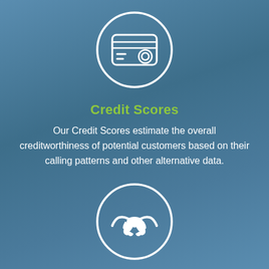[Figure (illustration): White outlined credit card icon inside a white circle on a blue background]
Credit Scores
Our Credit Scores estimate the overall creditworthiness of potential customers based on their calling patterns and other alternative data.
[Figure (illustration): White handshake icon inside a white circle on a blue background]